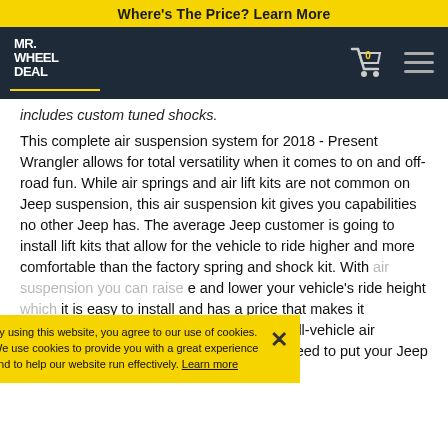Where's The Price? Learn More
[Figure (logo): Mr. Wheel Deal logo in white on dark navy background, with shopping cart icon showing 0 and hamburger menu]
includes custom tuned shocks.
This complete air suspension system for 2018 - Present Wrangler allows for total versatility when it comes to on and off-road fun. While air springs and air lift kits are not common on Jeep suspension, this air suspension kit gives you capabilities no other Jeep has. The average Jeep customer is going to install lift kits that allow for the vehicle to ride higher and more comfortable than the factory spring and shock kit. With [air suspension you can raise and lower your vehicle's ride height] it is easy to install and has a price that makes it affordable on just about any budget. This full-vehicle air suspension kit will feature everything you need to put your Jeep on air suspension.
By using this website, you agree to our use of cookies. We use cookies to provide you with a great experience and to help our website run effectively. Learn more